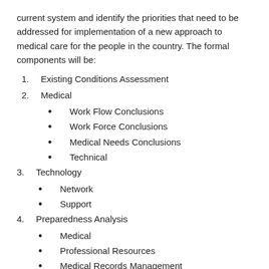current system and identify the priorities that need to be addressed for implementation of a new approach to medical care for the people in the country. The formal components will be:
1. Existing Conditions Assessment
2. Medical
• Work Flow Conclusions
• Work Force Conclusions
• Medical Needs Conclusions
• Technical
3. Technology
• Network
• Support
4. Preparedness Analysis
• Medical
• Professional Resources
• Medical Records Management
• Technical
• Telecommunications and connectivity